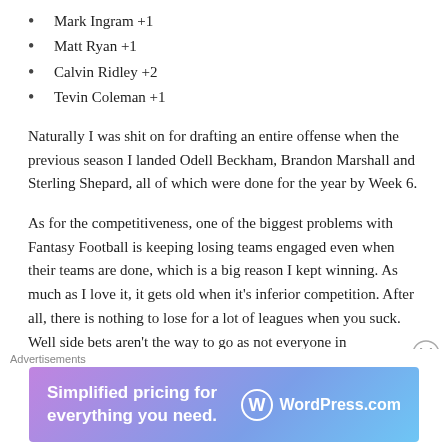Mark Ingram +1
Matt Ryan +1
Calvin Ridley +2
Tevin Coleman +1
Naturally I was shit on for drafting an entire offense when the previous season I landed Odell Beckham, Brandon Marshall and Sterling Shepard, all of which were done for the year by Week 6.
As for the competitiveness, one of the biggest problems with Fantasy Football is keeping losing teams engaged even when their teams are done, which is a big reason I kept winning. As much as I love it, it gets old when it’s inferior competition. After all, there is nothing to lose for a lot of leagues when you suck. Well side bets aren’t the way to go as not everyone in
Advertisements
[Figure (infographic): WordPress.com advertisement banner: 'Simplified pricing for everything you need.' with WordPress.com logo on gradient purple-blue background.]